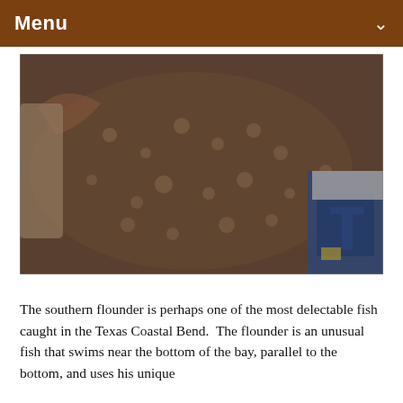Menu
[Figure (photo): A southern flounder fish being held, showing its dark brown spotted top surface, with a blue and white shirt or bag visible in the background. The fish has spiny dorsal fins visible and is photographed close-up.]
The southern flounder is perhaps one of the most delectable fish caught in the Texas Coastal Bend.  The flounder is an unusual fish that swims near the bottom of the bay, parallel to the bottom, and uses his unique